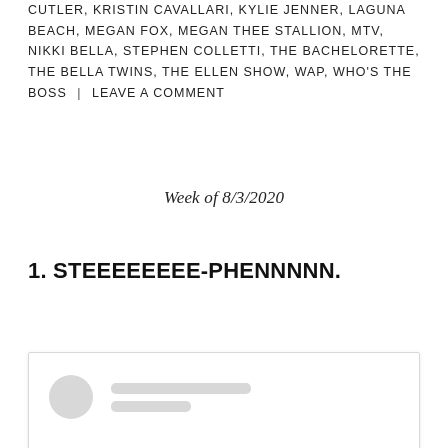CUTLER, KRISTIN CAVALLARI, KYLIE JENNER, LAGUNA BEACH, MEGAN FOX, MEGAN THEE STALLION, MTV, NIKKI BELLA, STEPHEN COLLETTI, THE BACHELORETTE, THE BELLA TWINS, THE ELLEN SHOW, WAP, WHO'S THE BOSS | LEAVE A COMMENT
Week of 8/3/2020
1. STEEEEEEEE-PHENNNNN.
[Figure (screenshot): Embedded social media post placeholder with avatar circle and loading skeleton lines]